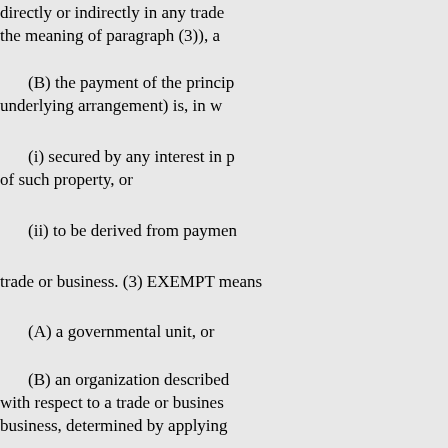directly or indirectly in any trade (within the meaning of paragraph (3)), a
(B) the payment of the principal (underlying arrangement) is, in w
(i) secured by any interest in p of such property, or
(ii) to be derived from payme
trade or business. (3) EXEMPT means
(A) a governmental unit, or
(B) an organization described with respect to a trade or business business, determined by applying
, (4) CERTAIN EXEMPT A issued as part of an issue substan
(A) projects for residential ren
(i) 15 percent or more in the ca
(ii) 20 percent or m
project,